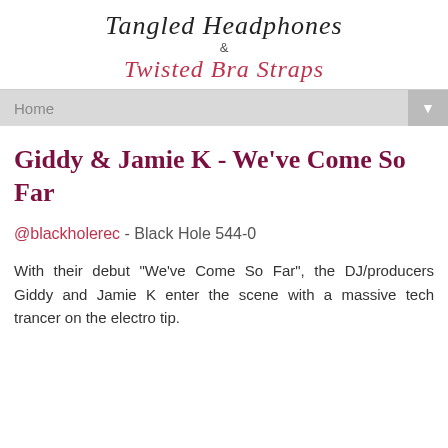Tangled Headphones & Twisted Bra Straps
Home
Giddy & Jamie K - We've Come So Far
@blackholerec - Black Hole 544-0
With their debut "We've Come So Far", the DJ/producers Giddy and Jamie K enter the scene with a massive tech trancer on the electro tip.